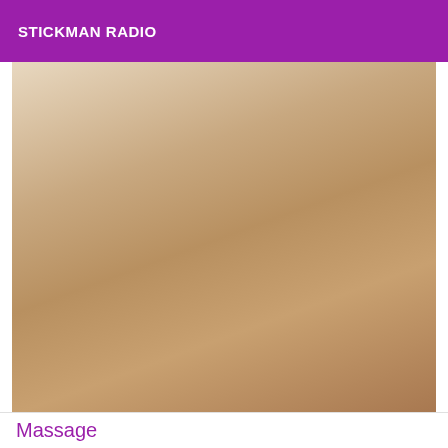STICKMAN RADIO
[Figure (photo): A person wearing a dark cross-strap top and denim cutoff shorts, photographed from neck to upper thighs against a light background.]
Massage